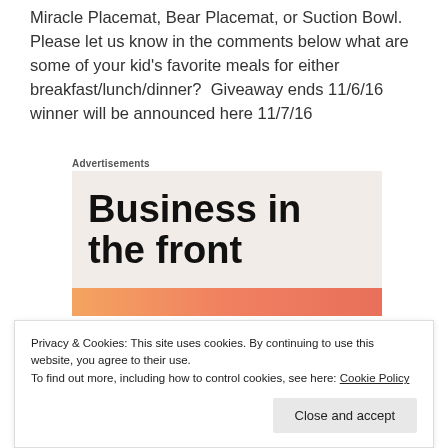Miracle Placemat, Bear Placemat, or Suction Bowl. Please let us know in the comments below what are some of your kid's favorite meals for either breakfast/lunch/dinner?  Giveaway ends 11/6/16 winner will be announced here 11/7/16
Advertisements
[Figure (other): Advertisement box with text 'Business in the front' on a light beige/pink background with a colorful gradient bar at the bottom]
Privacy & Cookies: This site uses cookies. By continuing to use this website, you agree to their use.
To find out more, including how to control cookies, see here: Cookie Policy